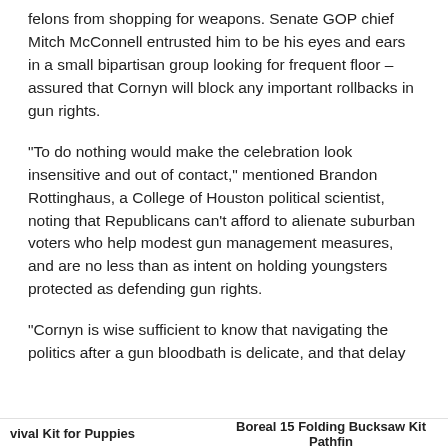felons from shopping for weapons. Senate GOP chief Mitch McConnell entrusted him to be his eyes and ears in a small bipartisan group looking for frequent floor – assured that Cornyn will block any important rollbacks in gun rights.
“To do nothing would make the celebration look insensitive and out of contact,” mentioned Brandon Rottinghaus, a College of Houston political scientist, noting that Republicans can’t afford to alienate suburban voters who help modest gun management measures, and are no less than as intent on holding youngsters protected as defending gun rights.
“Cornyn is wise sufficient to know that navigating the politics after a gun bloodbath is delicate, and that delay
vival Kit for Puppies    Boreal 15 Folding Bucksaw Kit Pathfin